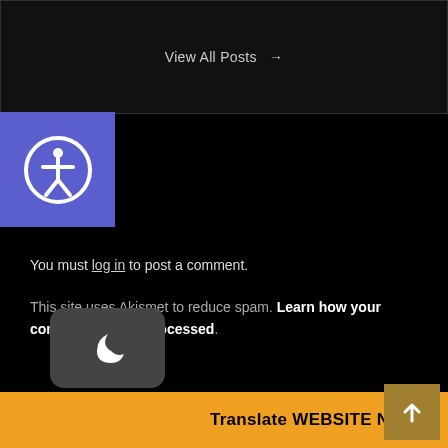View All Posts →
[Figure (illustration): Accessibility icon — white person figure inside a circle on a blue/purple square background]
You must log in to post a comment.
This site uses Akismet to reduce spam. Learn how your comment data is processed.
> 200 Secrets of Success
> 30 Days of Motivation course
> 5G Technology
> t Intelligence and Operations
[Figure (illustration): Dark mode toggle button — moon crescent icon on dark rounded rectangle]
Translate WEBSITE NOW! »
[Figure (illustration): Scroll-to-top button — upward arrow on golden/tan square]